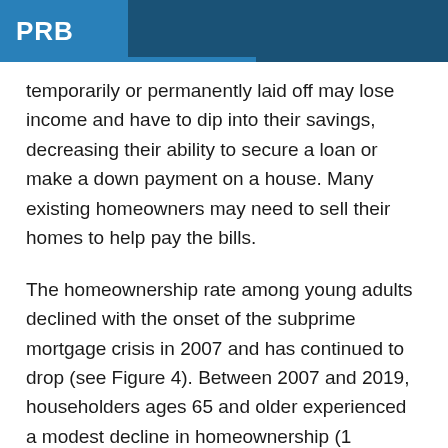PRB
temporarily or permanently laid off may lose income and have to dip into their savings, decreasing their ability to secure a loan or make a down payment on a house. Many existing homeowners may need to sell their homes to help pay the bills.
The homeownership rate among young adults declined with the onset of the subprime mortgage crisis in 2007 and has continued to drop (see Figure 4). Between 2007 and 2019, householders ages 65 and older experienced a modest decline in homeownership (1 percentage point), whereas rates dropped sharply for householders ages 25 to 34 (8 percentage points) and